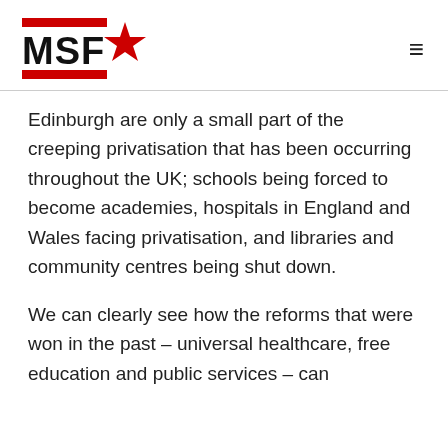MSF (logo)
Edinburgh are only a small part of the creeping privatisation that has been occurring throughout the UK; schools being forced to become academies, hospitals in England and Wales facing privatisation, and libraries and community centres being shut down.
We can clearly see how the reforms that were won in the past – universal healthcare, free education and public services – can